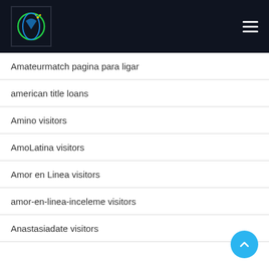Navigation header with logo and hamburger menu
Amateurmatch pagina para ligar
american title loans
Amino visitors
AmoLatina visitors
Amor en Linea visitors
amor-en-linea-inceleme visitors
Anastasiadate visitors